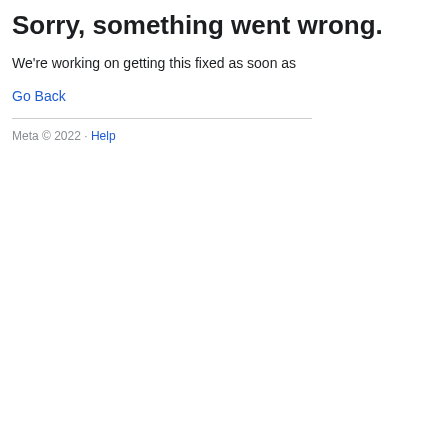Sorry, something went wrong.
We're working on getting this fixed as soon as
Go Back
Meta © 2022 · Help